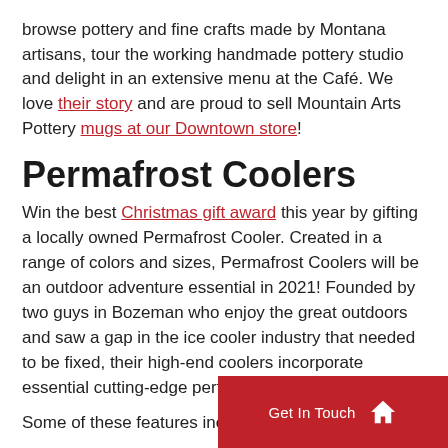browse pottery and fine crafts made by Montana artisans, tour the working handmade pottery studio and delight in an extensive menu at the Café. We love their story and are proud to sell Mountain Arts Pottery mugs at our Downtown store!
Permafrost Coolers
Win the best Christmas gift award this year by gifting a locally owned Permafrost Cooler. Created in a range of colors and sizes, Permafrost Coolers will be an outdoor adventure essential in 2021! Founded by two guys in Bozeman who enjoy the great outdoors and saw a gap in the ice cooler industry that needed to be fixed, their high-end coolers incorporate essential cutting-edge performance features.
Some of these features include insulation properties, IGBC bear-proof certifications, padded-grip
[Figure (other): Red 'Get In Touch' button bar with a white home icon, positioned at bottom right of the page]